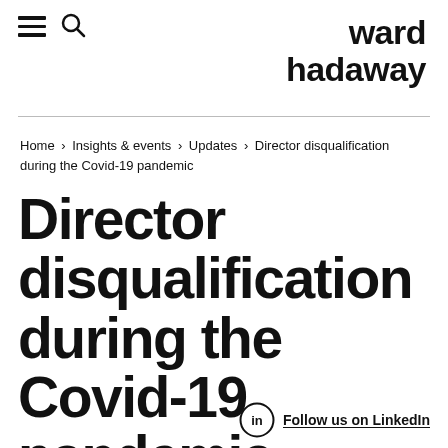ward hadaway
Home › Insights & events › Updates › Director disqualification during the Covid-19 pandemic
Director disqualification during the Covid-19 pandemic
Follow us on LinkedIn